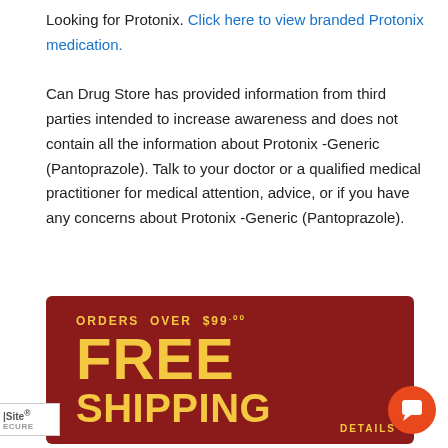Looking for Protonix. Click here to view branded Protonix medication.
Can Drug Store has provided information from third parties intended to increase awareness and does not contain all the information about Protonix -Generic (Pantoprazole). Talk to your doctor or a qualified medical practitioner for medical attention, advice, or if you have any concerns about Protonix -Generic (Pantoprazole).
[Figure (infographic): Dark red promotional banner with gold text reading 'ORDERS OVER $99.00 FREE SHIPPING DETAILS']